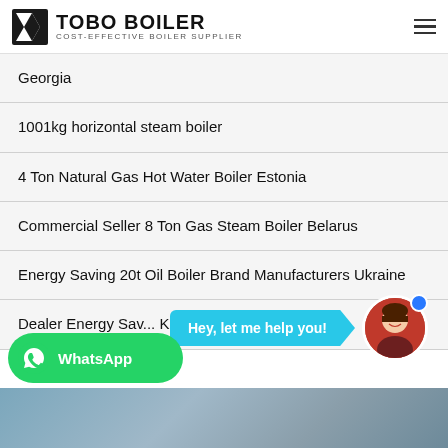TOBO BOILER – COST-EFFECTIVE BOILER SUPPLIER
Georgia
1001kg horizontal steam boiler
4 Ton Natural Gas Hot Water Boiler Estonia
Commercial Seller 8 Ton Gas Steam Boiler Belarus
Energy Saving 20t Oil Boiler Brand Manufacturers Ukraine
Dealer Energy Sav... K... n
[Figure (screenshot): Chat support bubble saying 'Hey, let me help you!' with avatar of a woman and a blue notification dot]
[Figure (logo): WhatsApp button (green rounded rectangle with WhatsApp icon and 'WhatsApp' text)]
[Figure (photo): Bottom partial photo showing industrial boiler equipment against a grey/blue background]